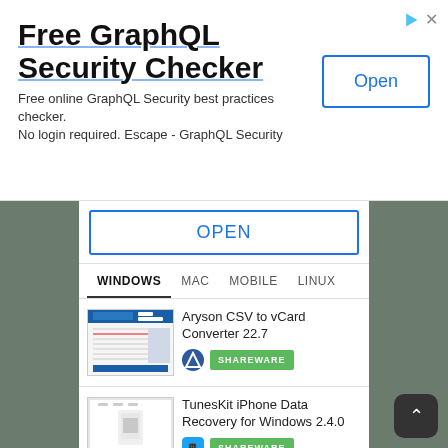[Figure (screenshot): Advertisement banner for Free GraphQL Security Checker with Open button]
Free GraphQL Security Checker
Free online GraphQL Security best practices checker. No login required. Escape - GraphQL Security
OPEN
WINDOWS  MAC  MOBILE  LINUX
Aryson CSV to vCard Converter 22.7
SHAREWARE
TunesKit iPhone Data Recovery for Windows 2.4.0
SHAREWARE
Aryson JFIF Converter 22.7